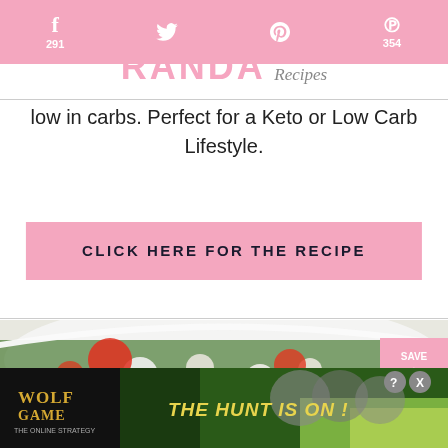f 291 | 354
low in carbs. Perfect for a Keto or Low Carb Lifestyle.
CLICK HERE FOR THE RECIPE
[Figure (photo): Close-up photo of a bowl of cauliflower tabbouleh salad with tomatoes, green herbs, and vegetables]
[Figure (photo): Advertisement banner: Wolf Game - The Hunt Is On!]